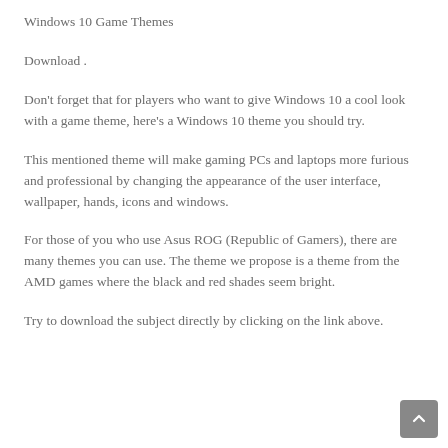Windows 10 Game Themes
Download .
Don't forget that for players who want to give Windows 10 a cool look with a game theme, here's a Windows 10 theme you should try.
This mentioned theme will make gaming PCs and laptops more furious and professional by changing the appearance of the user interface, wallpaper, hands, icons and windows.
For those of you who use Asus ROG (Republic of Gamers), there are many themes you can use. The theme we propose is a theme from the AMD games where the black and red shades seem bright.
Try to download the subject directly by clicking on the link above.